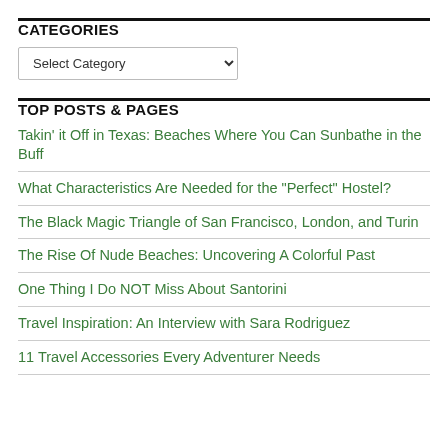CATEGORIES
Select Category
TOP POSTS & PAGES
Takin' it Off in Texas: Beaches Where You Can Sunbathe in the Buff
What Characteristics Are Needed for the "Perfect" Hostel?
The Black Magic Triangle of San Francisco, London, and Turin
The Rise Of Nude Beaches: Uncovering A Colorful Past
One Thing I Do NOT Miss About Santorini
Travel Inspiration: An Interview with Sara Rodriguez
11 Travel Accessories Every Adventurer Needs